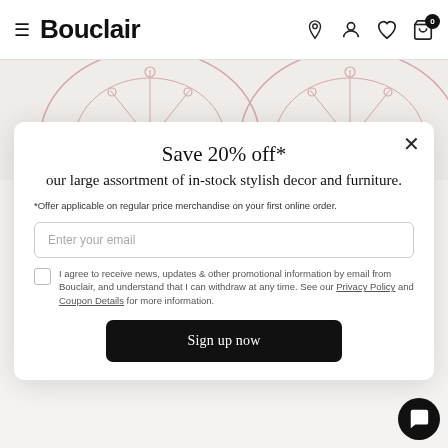Bouclair
[Figure (illustration): Partial view of decorative ceiling lights/chandelier with circular pink outlines on a light beige background]
Save 20% off*
our large assortment of in-stock stylish decor and furniture.
*Offer applicable on regular price merchandise on your first online order.
Enter your email
I agree to receive news, updates & other promotional information by email from Bouclair, and understand that I can withdraw at any time. See our Privacy Policy and Coupon Details for more information.
Sign up now